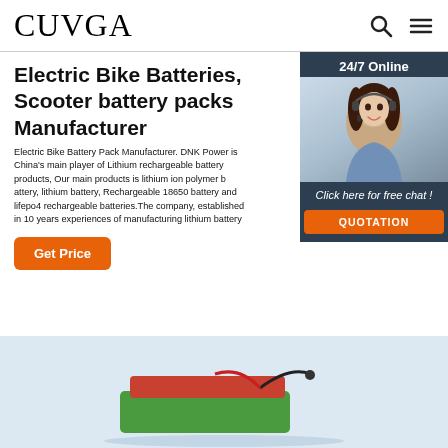CUVGA
Electric Bike Batteries, Scooter battery packs Manufacturer
Electric Bike Battery Pack Manufacturer. DNK Power is China's main player of Lithium rechargeable battery products, Our main products is lithium ion polymer battery, lithium battery, Rechargeable 18650 battery and lifepo4 rechargeable batteries.The company, established in 10 years experiences of manufacturing lithium battery
Get Price
[Figure (infographic): 24/7 Online chat widget with female agent wearing headset, and QUOTATION button]
[Figure (photo): Product photo of battery pack at bottom of page]